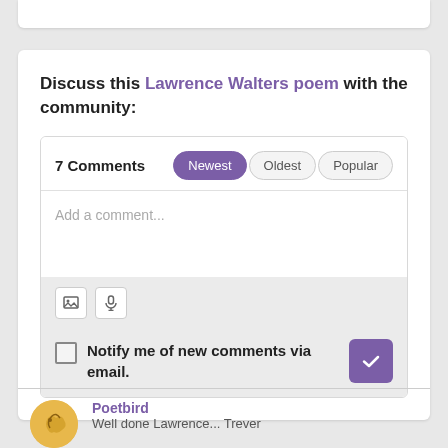Discuss this Lawrence Walters poem with the community:
7 Comments
[Figure (screenshot): Comment input box with 'Add a comment...' placeholder text, toolbar icons for image and microphone, and a notification checkbox with submit button]
Poetbird
Well done Lawrence... Trever